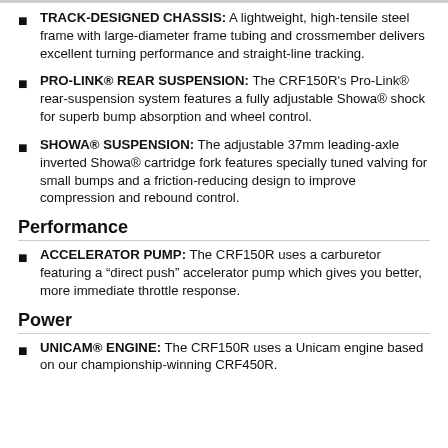TRACK-DESIGNED CHASSIS: A lightweight, high-tensile steel frame with large-diameter frame tubing and crossmember delivers excellent turning performance and straight-line tracking.
PRO-LINK® REAR SUSPENSION: The CRF150R's Pro-Link® rear-suspension system features a fully adjustable Showa® shock for superb bump absorption and wheel control.
SHOWA® SUSPENSION: The adjustable 37mm leading-axle inverted Showa® cartridge fork features specially tuned valving for small bumps and a friction-reducing design to improve compression and rebound control.
Performance
ACCELERATOR PUMP: The CRF150R uses a carburetor featuring a "direct push" accelerator pump which gives you better, more immediate throttle response.
Power
UNICAM® ENGINE: The CRF150R uses a Unicam engine based on our championship-winning CRF450R.